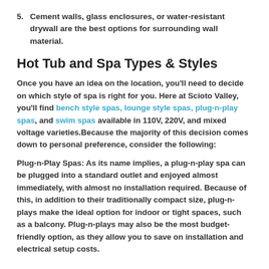5. Cement walls, glass enclosures, or water-resistant drywall are the best options for surrounding wall material.
Hot Tub and Spa Types & Styles
Once you have an idea on the location, you'll need to decide on which style of spa is right for you. Here at Scioto Valley, you'll find bench style spas, lounge style spas, plug-n-play spas, and swim spas available in 110V, 220V, and mixed voltage varieties.Because the majority of this decision comes down to personal preference, consider the following:
Plug-n-Play Spas: As its name implies, a plug-n-play spa can be plugged into a standard outlet and enjoyed almost immediately, with almost no installation required. Because of this, in addition to their traditionally compact size, plug-n-plays make the ideal option for indoor or tight spaces, such as a balcony. Plug-n-plays may also be the most budget-friendly option, as they allow you to save on installation and electrical setup costs.